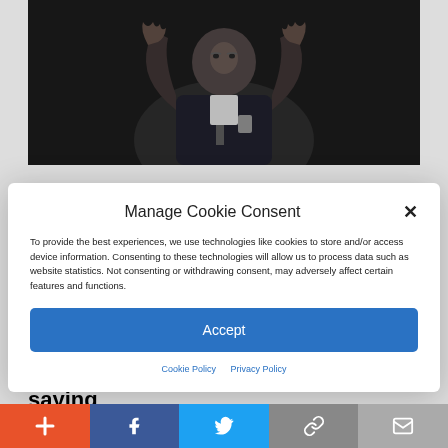[Figure (photo): Photo of a man at a microphone with hands raised, dark background]
Manage Cookie Consent
To provide the best experiences, we use technologies like cookies to store and/or access device information. Consenting to these technologies will allow us to process data such as website statistics. Not consenting or withdrawing consent, may adversely affect certain features and functions.
Accept
Cookie Policy   Privacy Policy
senator cited his personal history, saying that his father's entire family was wiped